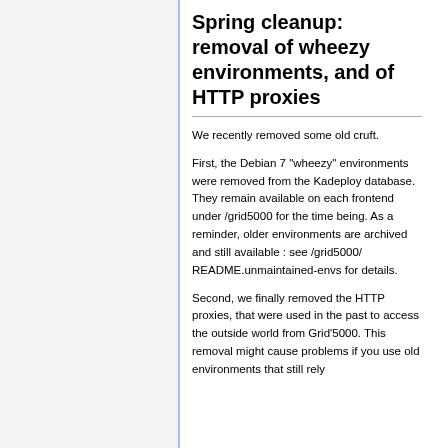Spring cleanup: removal of wheezy environments, and of HTTP proxies
We recently removed some old cruft.
First, the Debian 7 "wheezy" environments were removed from the Kadeploy database. They remain available on each frontend under /grid5000 for the time being. As a reminder, older environments are archived and still available : see /grid5000/ README.unmaintained-envs for details.
Second, we finally removed the HTTP proxies, that were used in the past to access the outside world from Grid'5000. This removal might cause problems if you use old environments that still rely